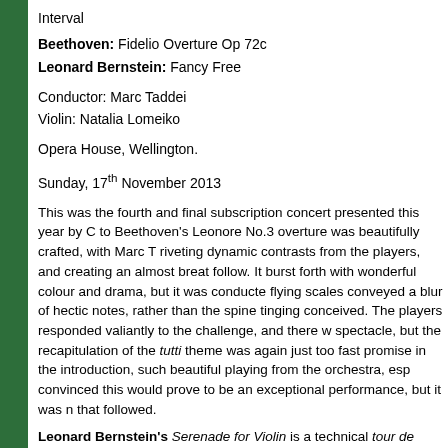Interval
Beethoven: Fidelio Overture Op 72c
Leonard Bernstein: Fancy Free
Conductor: Marc Taddei
Violin: Natalia Lomeiko
Opera House, Wellington.
Sunday, 17th November 2013
This was the fourth and final subscription concert presented this year by O... to Beethoven's Leonore No.3 overture was beautifully crafted, with Marc T... riveting dynamic contrasts from the players, and creating an almost breat... follow. It burst forth with wonderful colour and drama, but it was conducte... flying scales conveyed a blur of hectic notes, rather than the spine tingling... conceived. The players responded valiantly to the challenge, and there w... spectacle, but the recapitulation of the tutti theme was again just too fast... promise in the introduction, such beautiful playing from the orchestra, esp... convinced this would prove to be an exceptional performance, but it was ... that followed.
Leonard Bernstein's Serenade for Violin is a technical tour de force for b... work in five parts is based on Plato's Symposium, where Socrates and ot... statements in praise of love" (Bernstein). At first hearing it came across t...